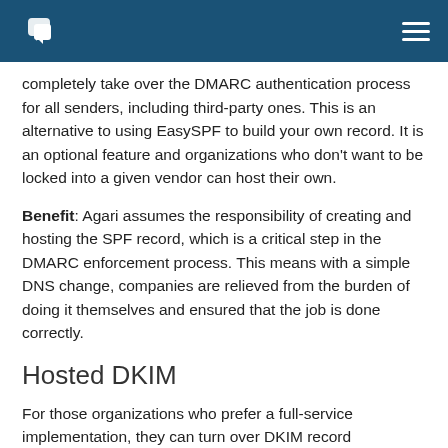Agari logo and navigation menu
completely take over the DMARC authentication process for all senders, including third-party ones. This is an alternative to using EasySPF to build your own record. It is an optional feature and organizations who don't want to be locked into a given vendor can host their own.
Benefit: Agari assumes the responsibility of creating and hosting the SPF record, which is a critical step in the DMARC enforcement process. This means with a simple DNS change, companies are relieved from the burden of doing it themselves and ensured that the job is done correctly.
Hosted DKIM
For those organizations who prefer a full-service implementation, they can turn over DKIM record management to Agari.